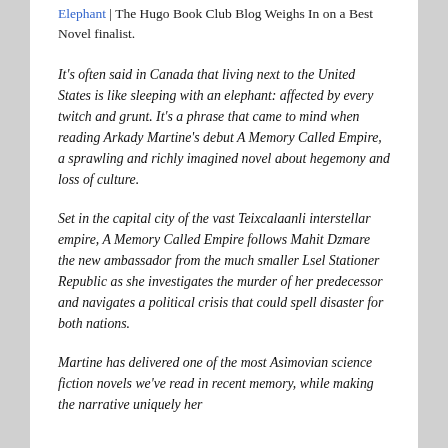Elephant | The Hugo Book Club Blog Weighs In on a Best Novel finalist.
It's often said in Canada that living next to the United States is like sleeping with an elephant: affected by every twitch and grunt. It's a phrase that came to mind when reading Arkady Martine's debut A Memory Called Empire, a sprawling and richly imagined novel about hegemony and loss of culture.
Set in the capital city of the vast Teixcalaanli interstellar empire, A Memory Called Empire follows Mahit Dzmare the new ambassador from the much smaller Lsel Stationer Republic as she investigates the murder of her predecessor and navigates a political crisis that could spell disaster for both nations.
Martine has delivered one of the most Asimovian science fiction novels we've read in recent memory, while making the narrative uniquely her